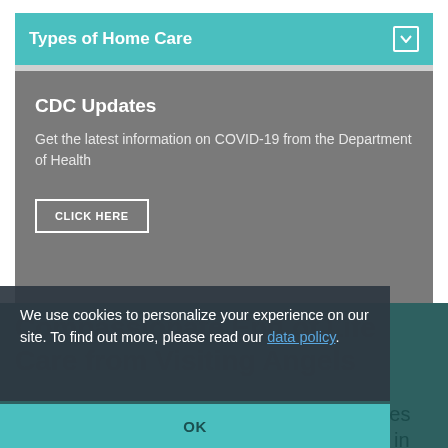Types of Home Care
CDC Updates
Get the latest information on COVID-19 from the Department of Health
CLICK HERE
Compassionate End of Life Care from Visiting Angels
End of life care from Visiting Angels provides much-needed care and support to families in Columbus,
We use cookies to personalize your experience on our site. To find out more, please read our data policy.
OK